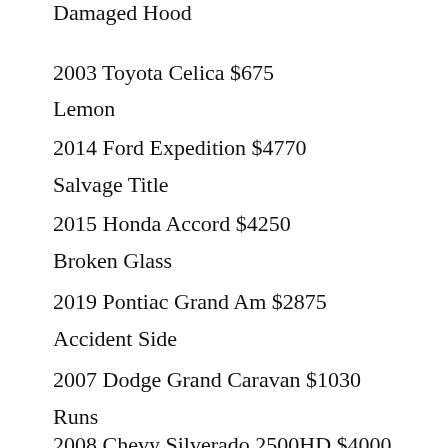Damaged Hood
2003 Toyota Celica $675
Lemon
2014 Ford Expedition $4770
Salvage Title
2015 Honda Accord $4250
Broken Glass
2019 Pontiac Grand Am $2875
Accident Side
2007 Dodge Grand Caravan $1030
Runs
2008 Chevy Silverado 2500HD $4000
Engine Knock